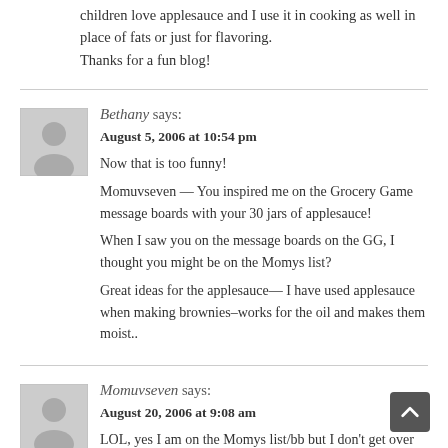children love applesauce and I use it in cooking as well in place of fats or just for flavoring.
Thanks for a fun blog!
Bethany says:
August 5, 2006 at 10:54 pm
Now that is too funny!
Momuvseven — You inspired me on the Grocery Game message boards with your 30 jars of applesauce!
When I saw you on the message boards on the GG, I thought you might be on the Momys list?
Great ideas for the applesauce— I have used applesauce when making brownies–works for the oil and makes them moist..
Momuvseven says:
August 20, 2006 at 9:08 am
LOL, yes I am on the Momys list/bb but I don't get over